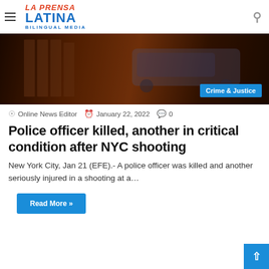La Prensa Latina Bilingual Media
[Figure (photo): Night scene with police vehicle, dark street with warm orange/red lighting]
Crime & Justice
Online News Editor  January 22, 2022  0
Police officer killed, another in critical condition after NYC shooting
New York City, Jan 21 (EFE).- A police officer was killed and another seriously injured in a shooting at a…
Read More »